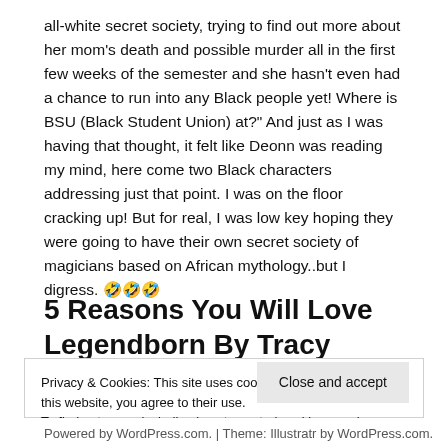all-white secret society, trying to find out more about her mom's death and possible murder all in the first few weeks of the semester and she hasn't even had a chance to run into any Black people yet! Where is BSU (Black Student Union) at?" And just as I was having that thought, it felt like Deonn was reading my mind, here come two Black characters addressing just that point. I was on the floor cracking up! But for real, I was low key hoping they were going to have their own secret society of magicians based on African mythology..but I digress. 🤣🤣🤣
5 Reasons You Will Love Legendborn By Tracy Deonn
Now one of my reasons for pointing out this book...
Privacy & Cookies: This site uses cookies. By continuing to use this website, you agree to their use.
To find out more, including how to control cookies, see here: Cookie Policy
Close and accept
Powered by WordPress.com. | Theme: Illustratr by WordPress.com.